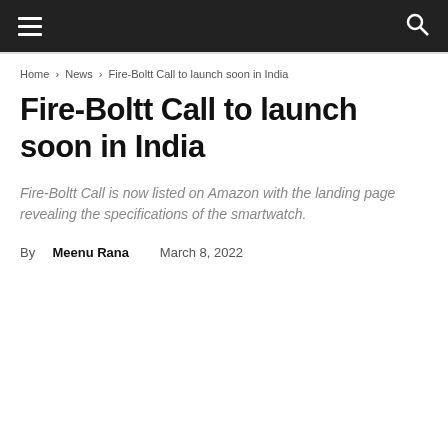☰  🔍
Home › News › Fire-Boltt Call to launch soon in India
Fire-Boltt Call to launch soon in India
Fire-Boltt Call is now listed on Amazon with the landing page revealing the specifications of the smartwatch.
By Meenu Rana  March 8, 2022